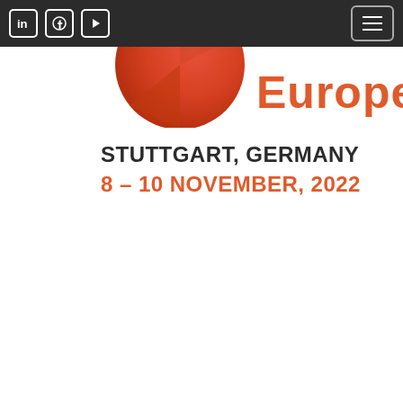Navigation bar with LinkedIn, Facebook, YouTube icons and hamburger menu
[Figure (logo): Partial view of a circular orange/red logo with the text 'Europe' in orange, cropped at the top of the page]
STUTTGART, GERMANY
8 – 10 NOVEMBER, 2022